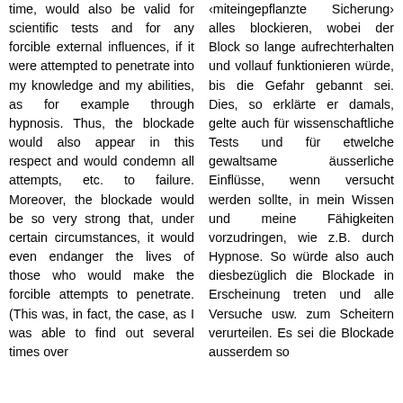time, would also be valid for scientific tests and for any forcible external influences, if it were attempted to penetrate into my knowledge and my abilities, as for example through hypnosis. Thus, the blockade would also appear in this respect and would condemn all attempts, etc. to failure. Moreover, the blockade would be so very strong that, under certain circumstances, it would even endanger the lives of those who would make the forcible attempts to penetrate. (This was, in fact, the case, as I was able to find out several times over
‹miteingepflanzte Sicherung› alles blockieren, wobei der Block so lange aufrechterhalten und vollauf funktionieren würde, bis die Gefahr gebannt sei. Dies, so erklärte er damals, gelte auch für wissenschaftliche Tests und für etwelche gewaltsame äusserliche Einflüsse, wenn versucht werden sollte, in mein Wissen und meine Fähigkeiten vorzudringen, wie z.B. durch Hypnose. So würde also auch diesbezüglich die Blockade in Erscheinung treten und alle Versuche usw. zum Scheitern verurteilen. Es sei die Blockade ausserdem so